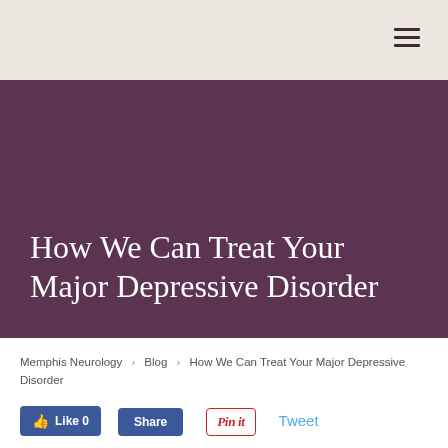How We Can Treat Your Major Depressive Disorder
Memphis Neurology > Blog > How We Can Treat Your Major Depressive Disorder
[Figure (other): Social sharing buttons: Facebook Like (0), Facebook Share, Pinterest Pin it, Twitter Tweet]